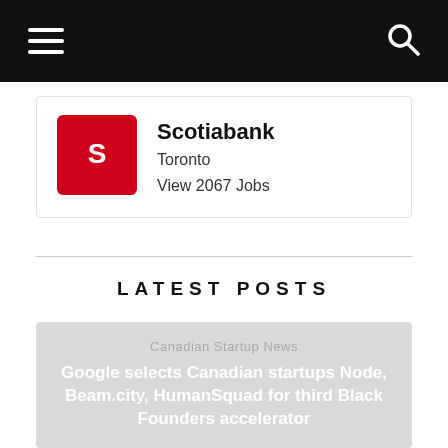[Figure (logo): Scotiabank red logo with stylized S mark on red background]
Scotiabank
Toronto
View 2067 Jobs
LATEST POSTS
[Figure (photo): Article card with gray background showing category 'Canadian Startup News' and title 'Google selects Canadian startups Node, Beam.city, HumanSquad for third Black Founders accelerator']